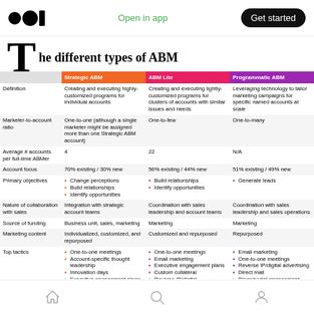Open in app | Get started
The different types of ABM
|  | Strategic ABM | ABM Lite | Programmatic ABM |
| --- | --- | --- | --- |
| Definition | Creating and executing highly-customized programs for individual accounts | Creating and executing lightly-customized programs for clusters of accounts with similar issues and needs | Leveraging technology to tailor marketing campaigns for specific named accounts at scale |
| Marketer-to-account ratio | One-to-one (although a single marketer might be assigned more than one Strategic ABM account) | One-to-few | One-to-many |
| Average # accounts per full-time ABMer | 4 | 22 | N/A |
| Account focus | 70% existing / 30% new | 56% existing / 44% new | 51% existing / 49% new |
| Primary objectives | • Change perceptions
• Build relationships
• Identify opportunities | • Build relationships
• Identify opportunities | • Generate leads |
| Nature of collaboration with sales | Integration with strategic account teams | Coordination with sales leadership and account teams | Coordination with sales leadership and sales operations |
| Source of funding | Business unit, sales, marketing | Marketing | Marketing |
| Marketing content | Individualized, customized, and repurposed | Customized and repurposed | Repurposed |
| Top tactics | • One-to-one meetings
• Account-specific thought leadership
• Innovation days
• Executive engagement plans | • One-to-one meetings
• Email marketing
• Executive engagement plans
• Custom collateral
• Reverse IP/digital | • Email marketing
• One-to-one meetings
• Reverse IP/digital advertising
• Direct mail
• Blogs/social engagement |
Home | Search | Profile